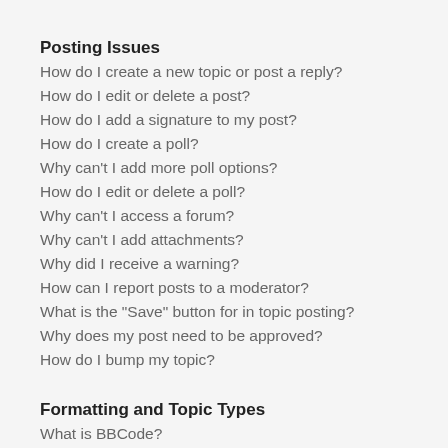Posting Issues
How do I create a new topic or post a reply?
How do I edit or delete a post?
How do I add a signature to my post?
How do I create a poll?
Why can't I add more poll options?
How do I edit or delete a poll?
Why can't I access a forum?
Why can't I add attachments?
Why did I receive a warning?
How can I report posts to a moderator?
What is the "Save" button for in topic posting?
Why does my post need to be approved?
How do I bump my topic?
Formatting and Topic Types
What is BBCode?
Can I use HTML?
What are Smilies?
Can I post images?
What are global announcements?
What are announcements?